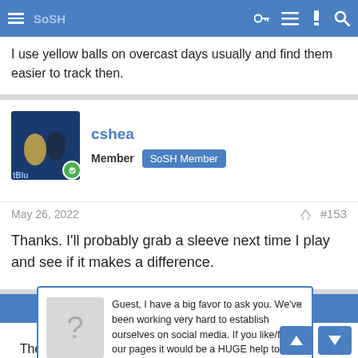SoSH (navigation bar)
I use yellow balls on overcast days usually and find them easier to track then.
cshea
Member  SoSH Member
May 26, 2022  #153
Thanks. I'll probably grab a sleeve next time I play and see if it makes a difference.
[Figure (screenshot): Popup dialog: Guest, I have a big favor to ask you. We've been working very hard to establish ourselves on social media. If you like/follow our pages it would be a HUGE help to us. SoSH on Facebook and Inside the Pylon Thanks! Nip]
#154
Ye... cloud d... They're a lot less great in the fall when leaves start dropping.